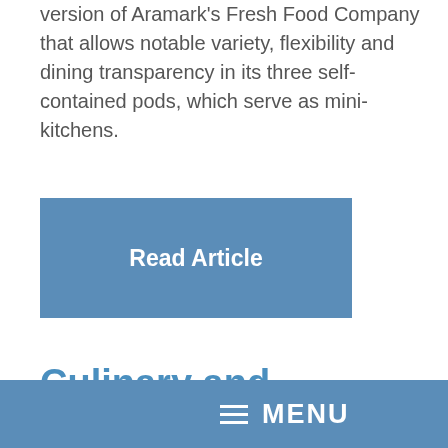version of Aramark's Fresh Food Company that allows notable variety, flexibility and dining transparency in its three self-contained pods, which serve as mini-kitchens.
Read Article
Culinary and Conference Center at Ivy Tech Community College in Indianapolis, Ind.
Donna Boss
January 31, 2013
MENU